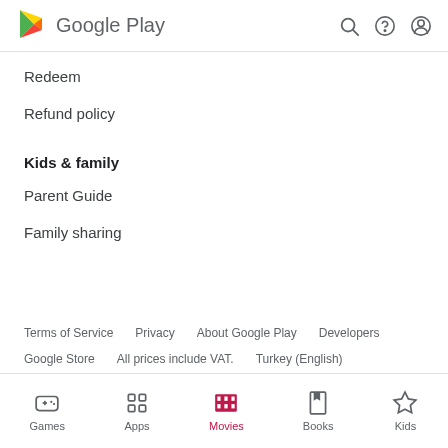Google Play
Redeem
Refund policy
Kids & family
Parent Guide
Family sharing
Terms of Service   Privacy   About Google Play   Developers
Google Store   All prices include VAT.   Turkey (English)
Games   Apps   Movies   Books   Kids